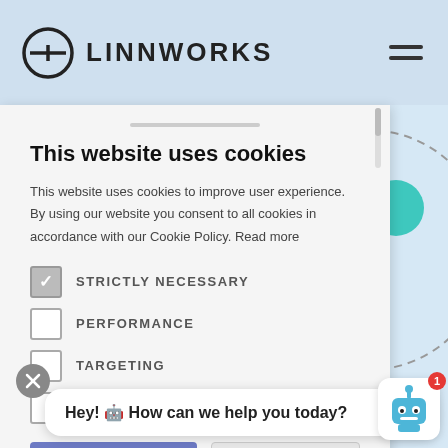LINNWORKS
This website uses cookies
This website uses cookies to improve user experience. By using our website you consent to all cookies in accordance with our Cookie Policy. Read more
STRICTLY NECESSARY
PERFORMANCE
TARGETING
FUNCTIONALITY
ACCEPT ALL
DECLINE ALL
SHOW DETAILS
Hey! 🤖 How can we help you today?